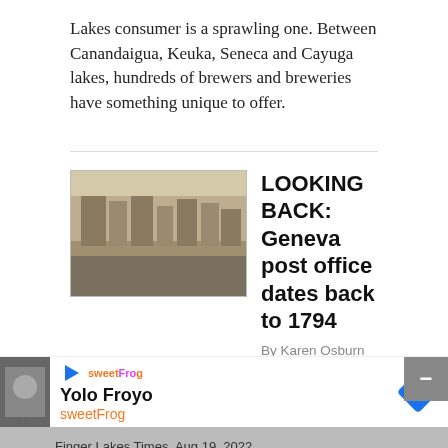Lakes consumer is a sprawling one. Between Canandaigua, Keuka, Seneca and Cayuga lakes, hundreds of brewers and breweries have something unique to offer.
LOOKING BACK: Geneva post office dates back to 1794
By Karen Osburn   11 hrs ago
[Figure (photo): Black and white historical street scene photo, likely of Geneva]
Do you ever give much thought to the United States Postal Service? In this day of computers, internet, texting, instant messaging, cellphones and more, you probably don't, but there was a time when a handwritten letter was the way to keep in touch with far-flung family and friends and also a...
[Figure (photo): Partially visible thumbnail image at bottom of page]
Yolo Froyo
sweetFrog
Finger Lakes Times  Aug 19, 2022